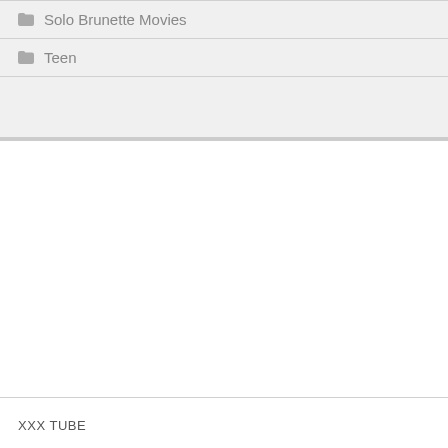Solo Brunette Movies
Teen
XXX TUBE